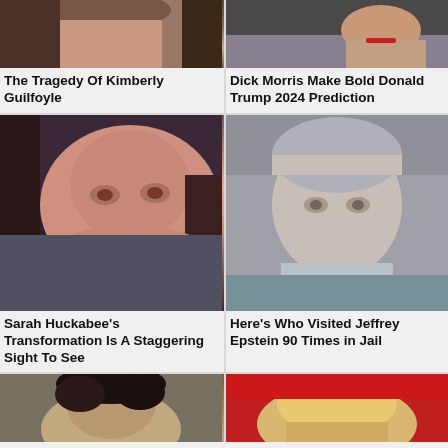[Figure (photo): Close-up photo of Kimberly Guilfoyle]
The Tragedy Of Kimberly Guilfoyle
[Figure (photo): Photo of Donald Trump]
Dick Morris Make Bold Donald Trump 2024 Prediction
[Figure (photo): Close-up photo of Sarah Huckabee Sanders]
Sarah Huckabee's Transformation Is A Staggering Sight To See
[Figure (photo): Photo of Jeffrey Epstein]
Here's Who Visited Jeffrey Epstein 90 Times in Jail
[Figure (photo): Photo of a man with dark curly hair]
[Figure (photo): Photo showing blonde hair against red background]